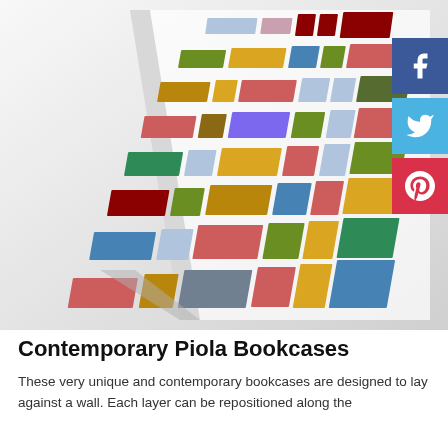[Figure (photo): A contemporary Piola bookcase photographed at an angle, showing colorful rectangular blocks/books arranged in a grid pattern on a white angular shelf structure. Colors include red, blue, green, yellow, orange, purple, light blue, olive, and pink.]
Contemporary Piola Bookcases
These very unique and contemporary bookcases are designed to lay against a wall. Each layer can be repositioned along the...